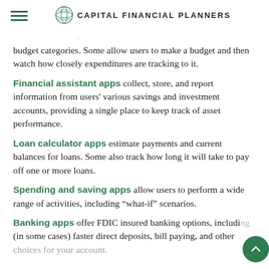CAPITAL FINANCIAL PLANNERS
budget categories. Some allow users to make a budget and then watch how closely expenditures are tracking to it.
Financial assistant apps collect, store, and report information from users' various savings and investment accounts, providing a single place to keep track of asset performance.
Loan calculator apps estimate payments and current balances for loans. Some also track how long it will take to pay off one or more loans.
Spending and saving apps allow users to perform a wide range of activities, including “what-if” scenarios.
Banking apps offer FDIC insured banking options, including (in some cases) faster direct deposits, bill paying, and other choices for your account.